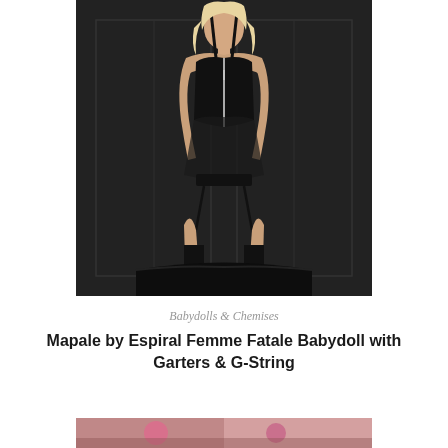[Figure (photo): Fashion model wearing black Femme Fatale Babydoll lingerie with garters and G-string, posed against a dark background with black leather furniture]
Babydolls & Chemises
Mapale by Espiral Femme Fatale Babydoll with Garters & G-String
[Figure (photo): Partial view of another product image at the bottom of the page]